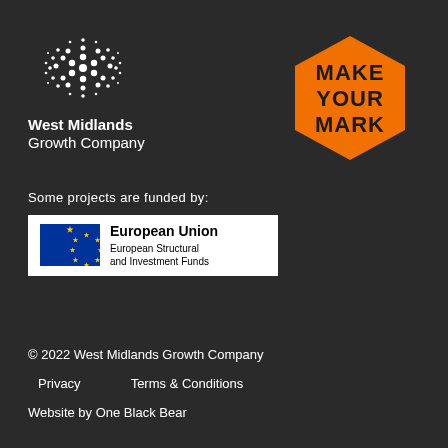[Figure (logo): West Midlands Growth Company dotted sphere logo with text 'West Midlands Growth Company' below]
[Figure (logo): Make Your Mark hexagon logo in orange with black text]
Some projects are funded by:
[Figure (logo): European Union European Structural and Investment Funds logo with EU flag]
© 2022 West Midlands Growth Company
Privacy      Terms & Conditions
Website by One Black Bear